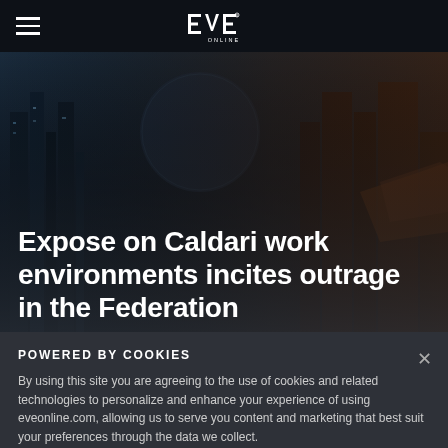EVE ONLINE
[Figure (illustration): Sci-fi cityscape/space environment with futuristic buildings and spacecraft, dark blue-grey tones]
Expose on Caldari work environments incites outrage in the Federation
POWERED BY COOKIES
By using this site you are agreeing to the use of cookies and related technologies to personalize and enhance your experience of using eveonline.com, allowing us to serve you content and marketing that best suit your preferences through the data we collect.
OKAY